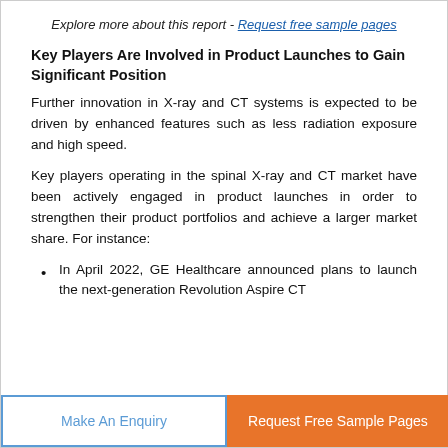Explore more about this report - Request free sample pages
Key Players Are Involved in Product Launches to Gain Significant Position
Further innovation in X-ray and CT systems is expected to be driven by enhanced features such as less radiation exposure and high speed.
Key players operating in the spinal X-ray and CT market have been actively engaged in product launches in order to strengthen their product portfolios and achieve a larger market share. For instance:
In April 2022, GE Healthcare announced plans to launch the next-generation Revolution Aspire CT
Make An Enquiry | Request Free Sample Pages